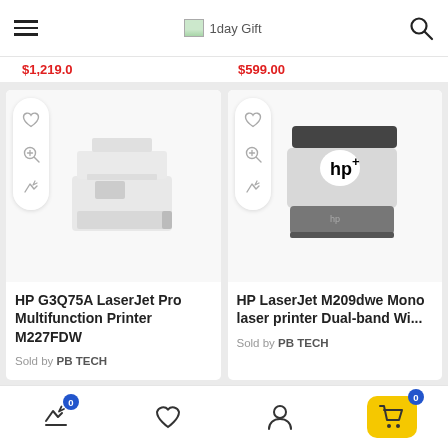1day Gift
$1,219.0 ... $599.00
[Figure (photo): HP G3Q75A LaserJet Pro Multifunction Printer M227FDW product photo on white background]
HP G3Q75A LaserJet Pro Multifunction Printer M227FDW
Sold by PB TECH
[Figure (photo): HP LaserJet M209dwe Mono laser printer Dual-band Wi-Fi product photo on white background]
HP LaserJet M209dwe Mono laser printer Dual-band Wi...
Sold by PB TECH
Compare | Wishlist | Account | Cart (0)